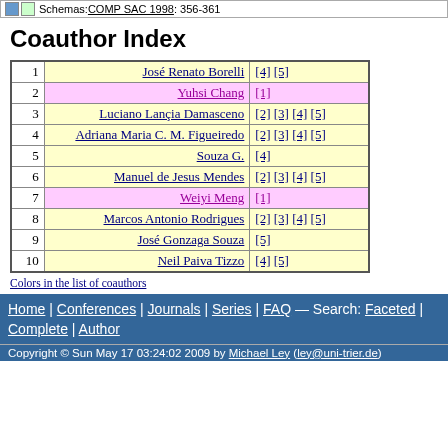Schemas: COMP SAC 1998: 356-361
Coauthor Index
| # | Name | Refs |
| --- | --- | --- |
| 1 | José Renato Borelli | [4] [5] |
| 2 | Yuhsi Chang | [1] |
| 3 | Luciano Lançia Damasceno | [2] [3] [4] [5] |
| 4 | Adriana Maria C. M. Figueiredo | [2] [3] [4] [5] |
| 5 | Souza G. | [4] |
| 6 | Manuel de Jesus Mendes | [2] [3] [4] [5] |
| 7 | Weiyi Meng | [1] |
| 8 | Marcos Antonio Rodrigues | [2] [3] [4] [5] |
| 9 | José Gonzaga Souza | [5] |
| 10 | Neil Paiva Tizzo | [4] [5] |
Colors in the list of coauthors
Home | Conferences | Journals | Series | FAQ — Search: Faceted | Complete | Author
Copyright © Sun May 17 03:24:02 2009 by Michael Ley (ley@uni-trier.de)